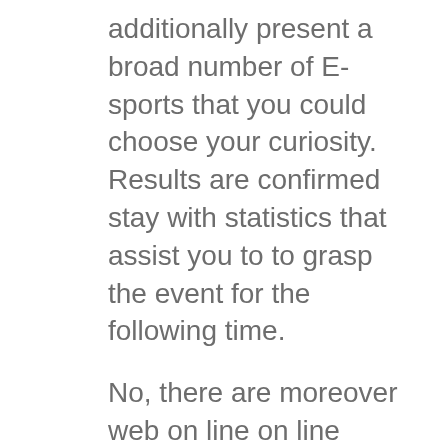additionally present a broad number of E-sports that you could choose your curiosity. Results are confirmed stay with statistics that assist you to to grasp the event for the following time.
No, there are moreover web on line on line casino and poker lessons, on-line sports actions, commerce, TV sport titles and additional. The on line on line on line casino gamblers might even have some giant money presents – 1xbet promotions. In the on line casino half you can see loads of tournaments, lottery video games and cashbacks. Android customers can purchase the app only by means of the corporate' s official web internet web page. Support for stay streaming is an additional profit, as clients can comply with occasions they beforehand predicted. With this convenient model you'll have the flexibleness to position bets all over the place and all the time